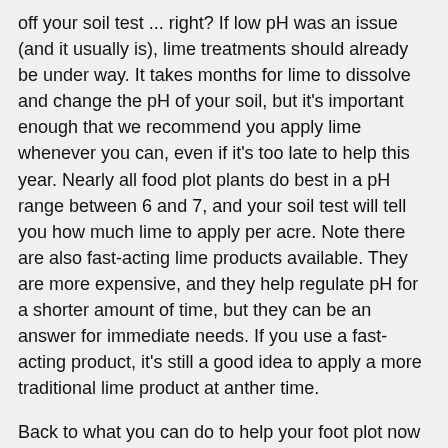off your soil test ... right? If low pH was an issue (and it usually is), lime treatments should already be under way. It takes months for lime to dissolve and change the pH of your soil, but it's important enough that we recommend you apply lime whenever you can, even if it's too late to help this year. Nearly all food plot plants do best in a pH range between 6 and 7, and your soil test will tell you how much lime to apply per acre. Note there are also fast-acting lime products available. They are more expensive, and they help regulate pH for a shorter amount of time, but they can be an answer for immediate needs. If you use a fast-acting product, it's still a good idea to apply a more traditional lime product at anther time.
Back to what you can do to help your foot plot now ... Summer is the time to get weeds under control. This is especially important for newer food plots. Start by mowing the plot area. Next, apply a herbicide. Glyphosate (Round-Up) is a great choice since it will kill everything in the plot, but there are other more specific herbicides available...